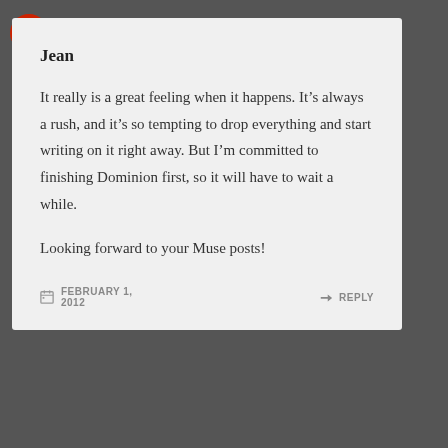Jean
It really is a great feeling when it happens. It’s always a rush, and it’s so tempting to drop everything and start writing on it right away. But I’m committed to finishing Dominion first, so it will have to wait a while.
Looking forward to your Muse posts!
FEBRUARY 1, 2012    ↳ REPLY